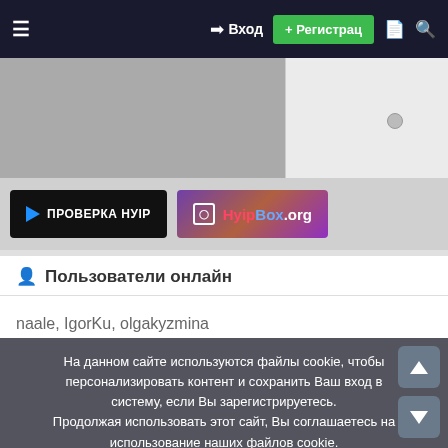≡  → Вход  + Регистрац 🗋 🔍
[Figure (screenshot): Top image area with grey background and white shirt on right side]
[Figure (screenshot): Banner area with ПРОВЕРКА НУIP black button and HyipBox.org purple gradient button]
Пользователи онлайн
naale, IgorKu, olgakyzmina
На данном сайте используются файлы cookie, чтобы персонализировать контент и сохранить Ваш вход в систему, если Вы зарегистрируетесь. Продолжая использовать этот сайт, Вы соглашаетесь на использование наших файлов cookie.
✓ Принять   Узнать больше...